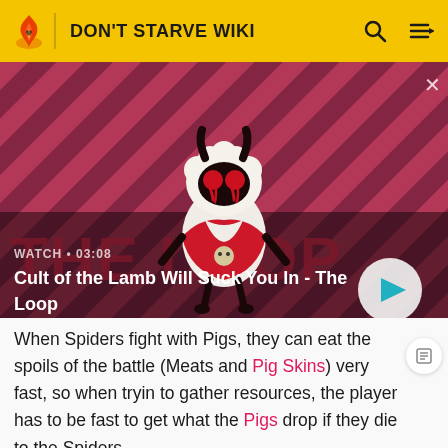DON'T STARVE WIKI
[Figure (screenshot): Video thumbnail showing a lamb character from Cult of the Lamb game on a red diagonal striped background. Text overlay reads WATCH • 03:08 and title Cult of the Lamb Will Suck You In - The Loop with a play button.]
When Spiders fight with Pigs, they can eat the spoils of the battle (Meats and Pig Skins) very fast, so when trying to gather resources, the player has to be fast to get what the Pigs drop if they die to the Spiders.